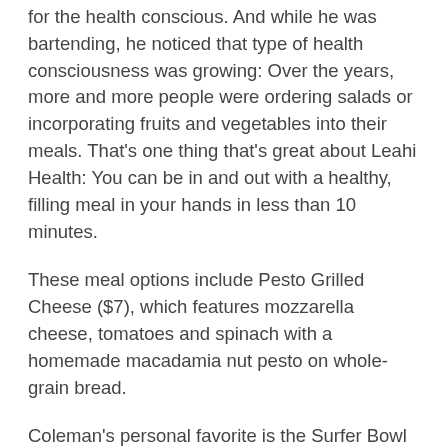for the health conscious. And while he was bartending, he noticed that type of health consciousness was growing: Over the years, more and more people were ordering salads or incorporating fruits and vegetables into their meals. That's one thing that's great about Leahi Health: You can be in and out with a healthy, filling meal in your hands in less than 10 minutes.
These meal options include Pesto Grilled Cheese ($7), which features mozzarella cheese, tomatoes and spinach with a homemade macadamia nut pesto on whole-grain bread.
Coleman's personal favorite is the Surfer Bowl ($8), which is filled with kale, carrots, green onions, red cabbage, avocado, roasted almonds, cucumbers and furikake — all over brown rice and topped with a homemade ginger tahini dressing.